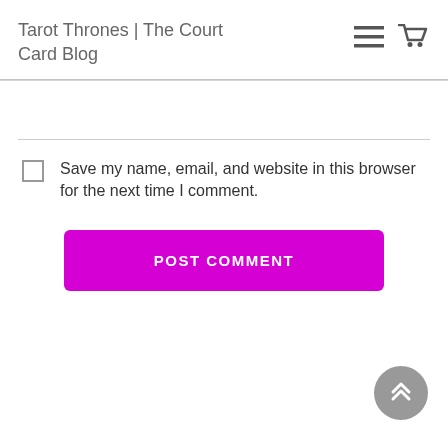Tarot Thrones | The Court Card Blog
Save my name, email, and website in this browser for the next time I comment.
[Figure (other): POST COMMENT button - magenta/purple rounded rectangle button with white text]
[Figure (other): Scroll to top button - grey circle with white double chevron up arrows]